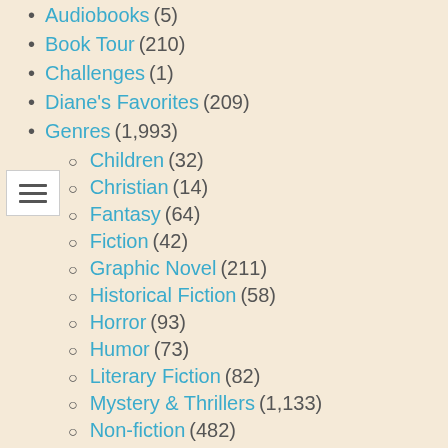Audiobooks (5)
Book Tour (210)
Challenges (1)
Diane's Favorites (209)
Genres (1,993)
Children (32)
Christian (14)
Fantasy (64)
Fiction (42)
Graphic Novel (211)
Historical Fiction (58)
Horror (93)
Humor (73)
Literary Fiction (82)
Mystery & Thrillers (1,133)
Non-fiction (482)
Paranormal (74)
Romance (66)
Science Fiction (97)